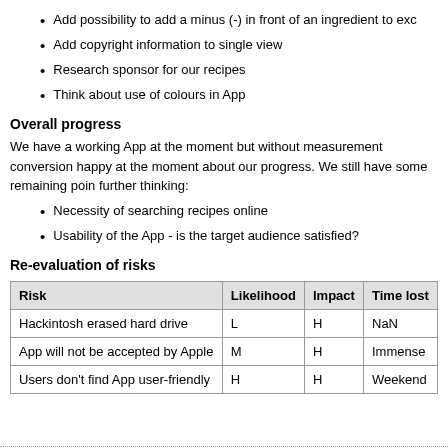Add possibility to add a minus (-) in front of an ingredient to exc
Add copyright information to single view
Research sponsor for our recipes
Think about use of colours in App
Overall progress
We have a working App at the moment but without measurement conversion happy at the moment about our progress. We still have some remaining poin further thinking:
Necessity of searching recipes online
Usability of the App - is the target audience satisfied?
Re-evaluation of risks
| Risk | Likelihood | Impact | Time lost |
| --- | --- | --- | --- |
| Hackintosh erased hard drive | L | H | NaN |
| App will not be accepted by Apple | M | H | Immense |
| Users don't find App user-friendly | H | H | Weekend |